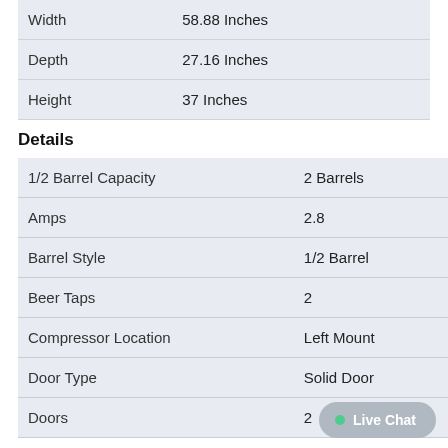| Property | Value |
| --- | --- |
| Width | 58.88 Inches |
| Depth | 27.16 Inches |
| Height | 37 Inches |
Details
| Property | Value |
| --- | --- |
| 1/2 Barrel Capacity | 2 Barrels |
| Amps | 2.8 |
| Barrel Style | 1/2 Barrel |
| Beer Taps | 2 |
| Compressor Location | Left Mount |
| Door Type | Solid Door |
| Doors | 2 |